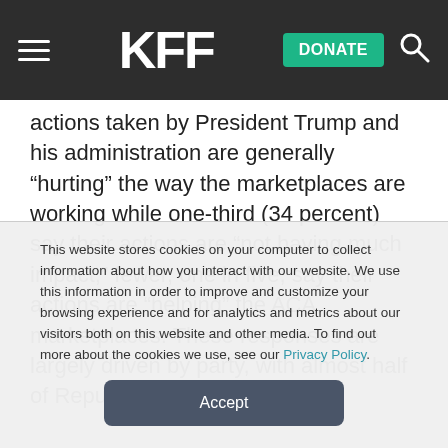KFF — DONATE [navigation bar]
actions taken by President Trump and his administration are generally “hurting” the way the marketplaces are working while one-third (34 percent) say their actions are “not having much impact;” fewer, one in five, say their actions are “helping” the ACA marketplaces. These responses are largely driven by party, with almost half of Republicans (46 percent)
This website stores cookies on your computer to collect information about how you interact with our website. We use this information in order to improve and customize your browsing experience and for analytics and metrics about our visitors both on this website and other media. To find out more about the cookies we use, see our Privacy Policy.
Accept